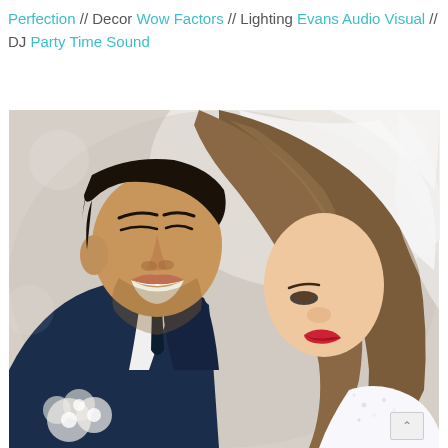Perfection // Decor Wow Factors // Lighting Evans Audio Visual // DJ Party Time Sound
[Figure (photo): Wedding couple photo: groom in navy suit and bride in white wedding dress with veil, smiling and touching foreheads/noses in an intimate pose against a light background.]